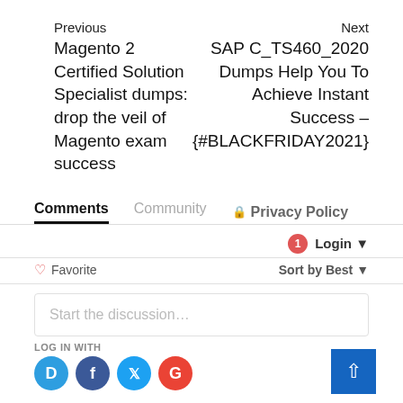Previous
Next
Magento 2 Certified Solution Specialist dumps: drop the veil of Magento exam success
SAP C_TS460_2020 Dumps Help You To Achieve Instant Success – {#BLACKFRIDAY2021}
Comments   Community   🔒 Privacy Policy
1  Login ▾
♡ Favorite   Sort by Best ▾
Start the discussion...
LOG IN WITH
D  f  (twitter)  G